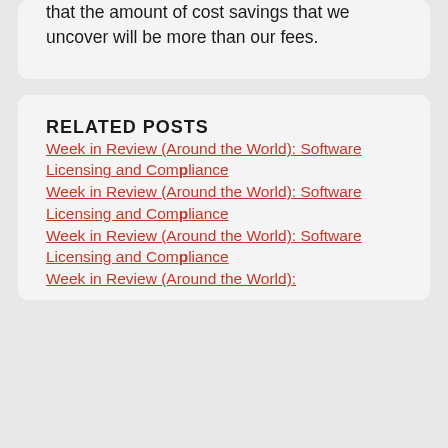that the amount of cost savings that we uncover will be more than our fees.
RELATED POSTS
Week in Review (Around the World): Software Licensing and Compliance
Week in Review (Around the World): Software Licensing and Compliance
Week in Review (Around the World): Software Licensing and Compliance
Week in Review (Around the World):